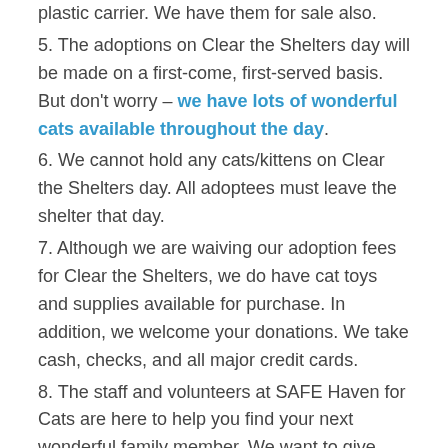plastic carrier. We have them for sale also.
5. The adoptions on Clear the Shelters day will be made on a first-come, first-served basis. But don't worry – we have lots of wonderful cats available throughout the day.
6. We cannot hold any cats/kittens on Clear the Shelters day. All adoptees must leave the shelter that day.
7. Although we are waiving our adoption fees for Clear the Shelters, we do have cat toys and supplies available for purchase. In addition, we welcome your donations. We take cash, checks, and all major credit cards.
8. The staff and volunteers at SAFE Haven for Cats are here to help you find your next wonderful family member. We want to give everyone the individual attention they need. Your patience and courtesy is much appreciated!